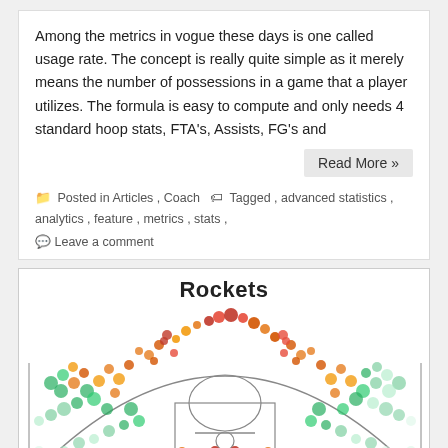Among the metrics in vogue these days is one called usage rate.  The concept is really quite simple as it merely means the number of possessions in a game that a player utilizes. The formula is easy to compute and only needs 4 standard hoop stats, FTA's, Assists, FG's and
Read More »
Posted in Articles , Coach  Tagged , advanced statistics , analytics , feature , metrics , stats ,
Leave a comment
[Figure (other): Basketball shot chart for the Rockets team, showing a half-court diagram filled with colored hexagonal/circular dots representing shot locations and frequency/efficiency. Colors range from green (below average) through yellow and orange to dark red (above average). The chart shows a high concentration of shots around the three-point arc and near the basket, with the title 'Rockets' at the top.]